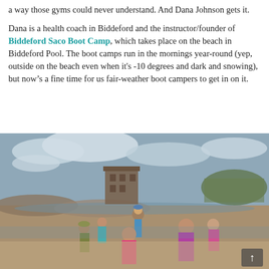a way those gyms could never understand. And Dana Johnson gets it.
Dana is a health coach in Biddeford and the instructor/founder of Biddeford Saco Boot Camp, which takes place on the beach in Biddeford Pool. The boot camps run in the mornings year-round (yep, outside on the beach even when it's -10 degrees and dark and snowing), but now's a fine time for us fair-weather boot campers to get in on it.
[Figure (photo): Group of people doing a boot camp workout on a beach. Several women in athletic gear are gathered in a circle. One person in a blue shirt and cap stands in the middle. A historic stone building is visible in the background on rocky shore, with overcast sky. A dark-toned back-to-scroll button is visible in the lower right corner.]